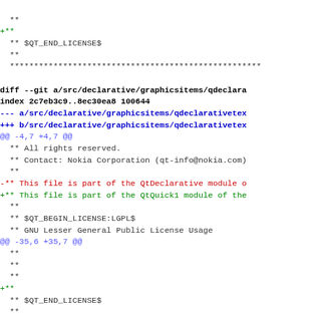diff --git a/src/declarative/graphicsitems/qdeclara
index 2c7eb3c9..8ec30ea8 100644
--- a/src/declarative/graphicsitems/qdeclarativetex
+++ b/src/declarative/graphicsitems/qdeclarativetex
@@ -4,7 +4,7 @@
 ** All rights reserved.
 ** Contact: Nokia Corporation (qt-info@nokia.com)
 **
-** This file is part of the QtDeclarative module o
+** This file is part of the QtQuick1 module of the
 **
 ** $QT_BEGIN_LICENSE:LGPL$
 ** GNU Lesser General Public License Usage
@@ -35,6 +35,7 @@
 **
 **
 **
+**
 ** $QT_END_LICENSE$
 **
 ****
diff --git a/src/declarative/graphicsitems/qdeclara
index ab916104..f6913dc2 100644
--- a/src/declarative/graphicsitems/qdeclarativetex